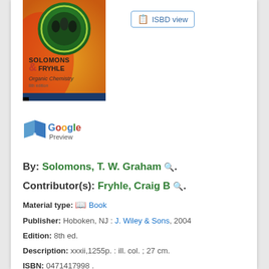[Figure (photo): Book cover of Solomons & Fryhle Organic Chemistry textbook, showing the title in bold letters on a colorful background with green circular design and orange/gold colors]
[Figure (logo): Google Preview logo with open book icon and Google text in multicolor]
ISBD view (button)
By: Solomons, T. W. Graham 🔍.
Contributor(s): Fryhle, Craig B 🔍.
Material type: Book
Publisher: Hoboken, NJ : J. Wiley & Sons, 2004
Edition: 8th ed.
Description: xxxii,1255p. : ill. col. ; 27 cm.
ISBN: 0471417998 .
Subject(s): Chemistry, Organic 🔍